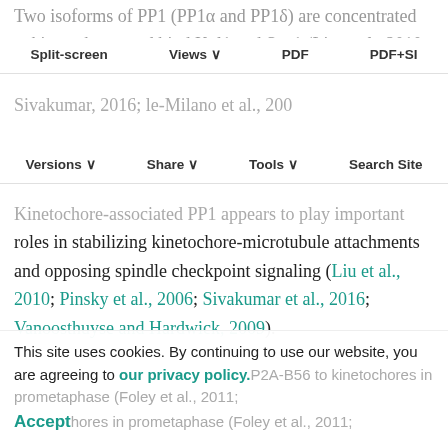Two isoforms of PP1 (PP1α and PP1δ) are concentrated at kinetochores and bind Knl1 and Sxa1 (Liu et al., 2010; Sivakumar et al., 2016; Vallot et al., ...).
Split-screen | Views | PDF | PDF+SI
Versions | Share | Tools | Search Site
Kinetochore-associated PP1 appears to play important roles in stabilizing kinetochore-microtubule attachments and opposing spindle checkpoint signaling (Liu et al., 2010; Pinsky et al., 2006; Sivakumar et al., 2016; Vanoosthuyse and Hardwick, 2009).
The PP2A holoenzyme is a hetero-trimer composed of a scaffolding A subunit, regulatory B subunit and catalytic C subunit (Janssens et al., 2008). The B subunits are classified into three sub-families termed B (PR55/B55), B'
This site uses cookies. By continuing to use our website, you are agreeing to our privacy policy. Accept